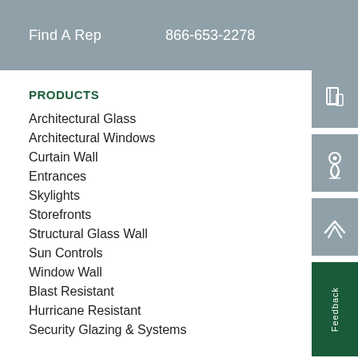Find A Rep    866-653-2278
PRODUCTS
Architectural Glass
Architectural Windows
Curtain Wall
Entrances
Skylights
Storefronts
Structural Glass Wall
Sun Controls
Window Wall
Blast Resistant
Hurricane Resistant
Security Glazing & Systems
[Figure (illustration): Three side icons: a brochure/book icon, a location pin icon, and an up-arrow icon, each in a gray box on the right edge; plus a dark green Feedback tab]
Feedback